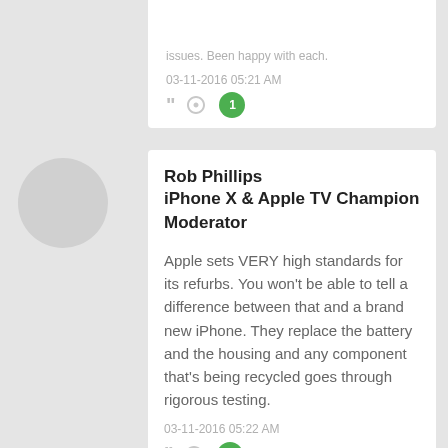issues. Been happy with each.
03-11-2016 05:21 AM
Rob Phillips
iPhone X & Apple TV Champion
Moderator
Apple sets VERY high standards for its refurbs. You won't be able to tell a difference between that and a brand new iPhone. They replace the battery and the housing and any component that's being recycled goes through rigorous testing.
03-11-2016 05:22 AM
DevinNJ
I dropped my carrier insurance to go with